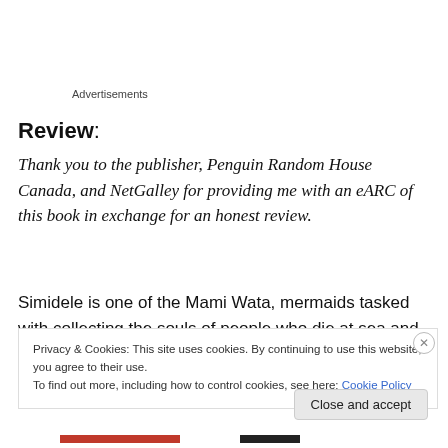Advertisements
Review:
Thank you to the publisher, Penguin Random House Canada, and NetGalley for providing me with an eARC of this book in exchange for an honest review.
Simidele is one of the Mami Wata, mermaids tasked with collecting the souls of people who die at sea and brings
Privacy & Cookies: This site uses cookies. By continuing to use this website, you agree to their use.
To find out more, including how to control cookies, see here: Cookie Policy
Close and accept